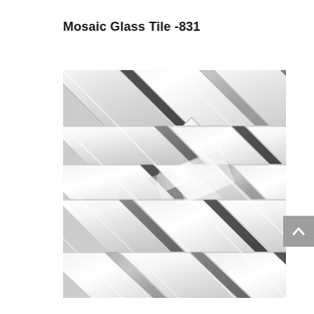Mosaic Glass Tile -831
[Figure (photo): Close-up photograph of a herringbone pattern mosaic glass tile, model 831. The tile features a chevron/herringbone pattern with alternating white glossy glass tiles and gray/dark gray accent strips, along with textured silver/metallic inserts. The pattern creates a zigzag chevron effect with tiles laid diagonally.]